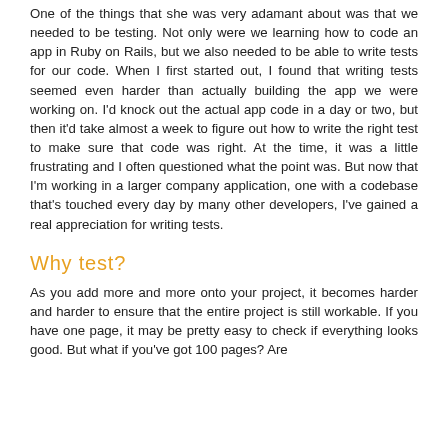One of the things that she was very adamant about was that we needed to be testing. Not only were we learning how to code an app in Ruby on Rails, but we also needed to be able to write tests for our code. When I first started out, I found that writing tests seemed even harder than actually building the app we were working on. I'd knock out the actual app code in a day or two, but then it'd take almost a week to figure out how to write the right test to make sure that code was right. At the time, it was a little frustrating and I often questioned what the point was. But now that I'm working in a larger company application, one with a codebase that's touched every day by many other developers, I've gained a real appreciation for writing tests.
Why test?
As you add more and more onto your project, it becomes harder and harder to ensure that the entire project is still workable. If you have one page, it may be pretty easy to check if everything looks good. But what if you've got 100 pages? Are